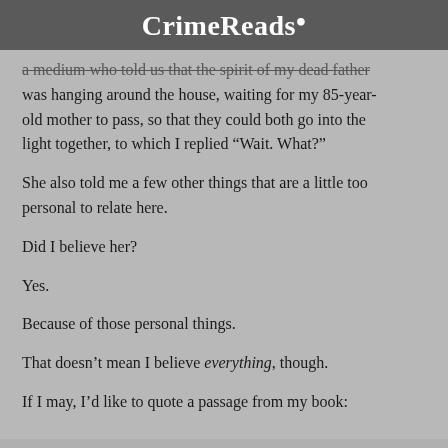CrimeReads
a medium who told us that the spirit of my dead father was hanging around the house, waiting for my 85-year-old mother to pass, so that they could both go into the light together, to which I replied “Wait. What?”
She also told me a few other things that are a little too personal to relate here.
Did I believe her?
Yes.
Because of those personal things.
That doesn’t mean I believe everything, though.
If I may, I’d like to quote a passage from my book: